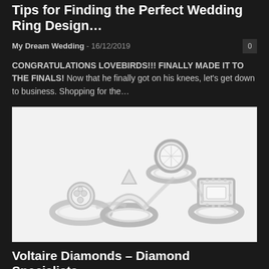Tips for Finding the Perfect Wedding Ring Design…
My Dream Wedding - 16/12/2019   0
CONGRATULATIONS LOVEBIRDS!!! FINALLY MADE IT TO THE FINALS! Now that he finally got on his knees, let's get down to business. Shopping for the…
[Figure (photo): Collection of diamond engagement rings displayed together on a white background]
Voltaire Diamonds – Diamond Specialists
Sarah - 23/08/2019   0
Judging by a recent increase in the purchase of diamonds, they're